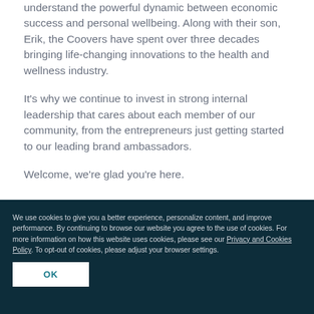understand the powerful dynamic between economic success and personal wellbeing. Along with their son, Erik, the Coovers have spent over three decades bringing life-changing innovations to the health and wellness industry.
It's why we continue to invest in strong internal leadership that cares about each member of our community, from the entrepreneurs just getting started to our leading brand ambassadors.
Welcome, we're glad you're here.
We use cookies to give you a better experience, personalize content, and improve performance. By continuing to browse our website you agree to the use of cookies. For more information on how this website uses cookies, please see our Privacy and Cookies Policy. To opt-out of cookies, please adjust your browser settings.
OK